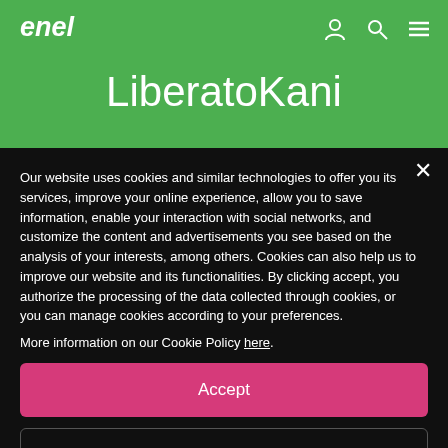[Figure (logo): Enel company logo in white italic text on green background]
LiberatoKani
Our website uses cookies and similar technologies to offer you its services, improve your online experience, allow you to save information, enable your interaction with social networks, and customize the content and advertisements you see based on the analysis of your interests, among others. Cookies can also help us to improve our website and its functionalities. By clicking accept, you authorize the processing of the data collected through cookies, or you can manage cookies according to your preferences.
More information on our Cookie Policy here.
Accept
Settings